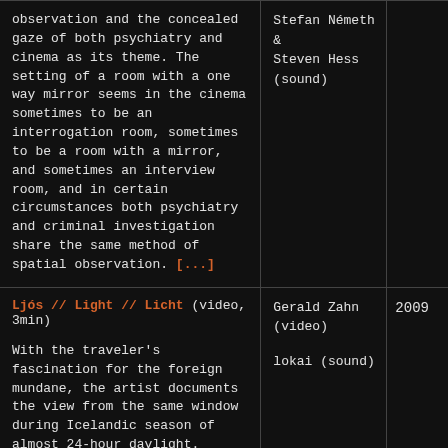observation and the concealed gaze of both psychiatry and cinema as its theme. The setting of a room with a one way mirror seems in the cinema sometimes to be an interrogation room, sometimes to be a room with a mirror, and sometimes an interview room, and in certain circumstances both psychiatry and criminal investigation share the same method of spatial observation. [...]
Stefan Németh & Steven Hess (sound)
Ljós // Light // Licht (video, 3min)
With the traveler's fascination for the foreign mundane, the artist documents the view from the same window during Icelandic season of almost 24-hour daylight.
The photo-film moves through a succession of delicate tones, where the light and the depth of
Gerald Zahn (video)

lokai (sound)
2009